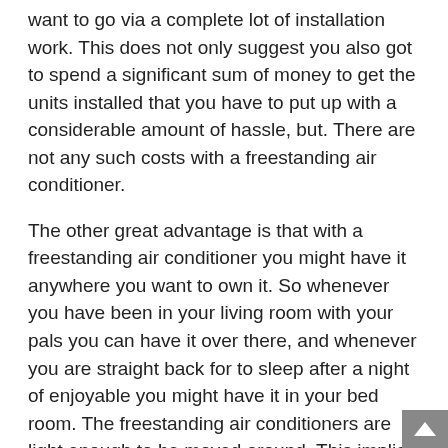want to go via a complete lot of installation work. This does not only suggest you also got to spend a significant sum of money to get the units installed that you have to put up with a considerable amount of hassle, but. There are not any such costs with a freestanding air conditioner.
The other great advantage is that with a freestanding air conditioner you might have it anywhere you want to own it. So whenever you have been in your living room with your pals you can have it over there, and whenever you are straight back for to sleep after a night of enjoyable you might have it in your bed room. The freestanding air conditioners are light enough to be moved around. This implies that you can further save well on your expenses. You needed to install separate ones for each of the rooms if you had window air conditioners. With freestanding air conditioning units you can do with a single unit. Although central air conditioners cool the air of all the rooms together, but they also eat much more